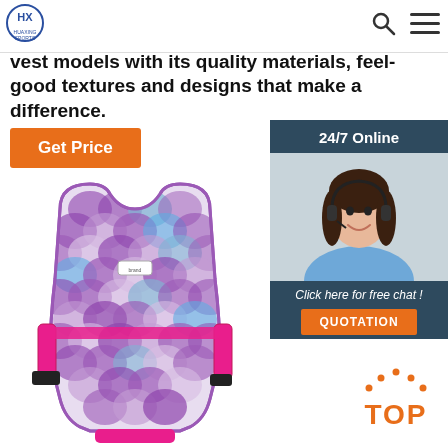Huaxing Sports — Navigation header with logo, search icon, menu icon
vest models with its quality materials, feel-good textures and designs that make a difference.
Get Price
[Figure (photo): Customer service agent woman with headset smiling, with '24/7 Online' header and 'Click here for free chat!' text and QUOTATION button]
[Figure (photo): Children's swim vest/life jacket with purple, pink, and blue fish-scale mermaid pattern and pink straps and buckles]
TOP